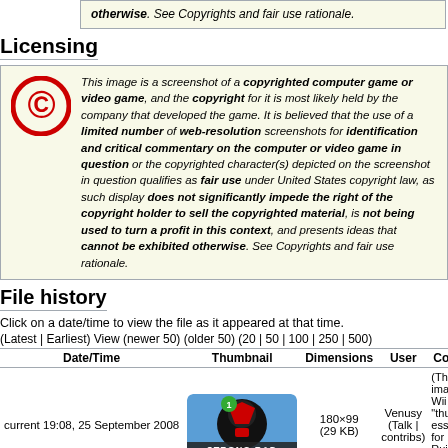otherwise. See Copyrights and fair use rationale.
Licensing
This image is a screenshot of a copyrighted computer game or video game, and the copyright for it is most likely held by the company that developed the game. It is believed that the use of a limited number of web-resolution screenshots for identification and critical commentary on the computer or video game in question or the copyrighted character(s) depicted on the screenshot in question qualifies as fair use under United States copyright law, as such display does not significantly impede the right of the copyright holder to sell the copyrighted material, is not being used to turn a profit in this context, and presents ideas that cannot be exhibited otherwise. See Copyrights and fair use rationale.
File history
Click on a date/time to view the file as it appeared at that time.
(Latest | Earliest) View (newer 50) (older 50) (20 | 50 | 100 | 250 | 500)
| Date/Time | Thumbnail | Dimensions | User | Comm |
| --- | --- | --- | --- | --- |
| current 19:08, 25 September 2008 | [thumbnail] | 180×99 (29 KB) | Venusy (Talk | contribs) | (The ba image o Wii Me "thumb essenti for Ho Ruiner. {{softw screen |
(Latest | Earliest) View (newer 50) (older 50) (20 | 50 | 100 | 250 | 500)
Edit this file using an external application (See the setup instructions (http://www.mediawiki.org/wiki/Manual:External_editors) for more information)
File links